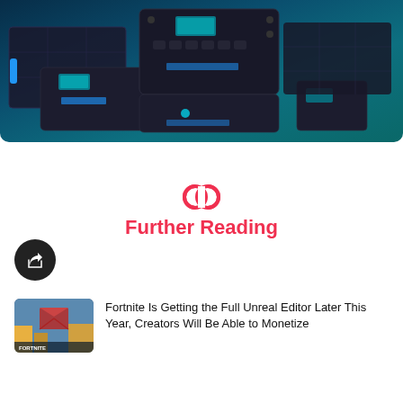[Figure (photo): Product photo of multiple Bluetti portable power stations and solar panels arranged together on a teal/dark blue gradient background]
[Figure (illustration): Red chain link / infinity loop icon representing a hyperlink or 'Further Reading' symbol]
Further Reading
[Figure (illustration): Dark circular share/external-link button icon]
[Figure (photo): Fortnite article thumbnail showing a screenshot with a large envelope icon over a city/landscape]
Fortnite Is Getting the Full Unreal Editor Later This Year, Creators Will Be Able to Monetize